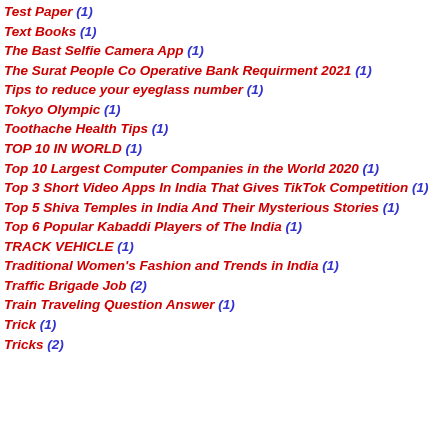Test Paper (1)
Text Books (1)
The Bast Selfie Camera App (1)
The Surat People Co Operative Bank Requirment 2021 (1)
Tips to reduce your eyeglass number (1)
Tokyo Olympic (1)
Toothache Health Tips (1)
TOP 10 IN WORLD (1)
Top 10 Largest Computer Companies in the World 2020 (1)
Top 3 Short Video Apps In India That Gives TikTok Competition (1)
Top 5 Shiva Temples in India And Their Mysterious Stories (1)
Top 6 Popular Kabaddi Players of The India (1)
TRACK VEHICLE (1)
Traditional Women's Fashion and Trends in India (1)
Traffic Brigade Job (2)
Train Traveling Question Answer (1)
Trick (1)
Tricks (2)